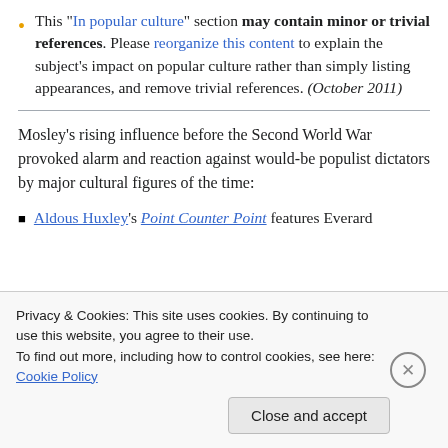This “In popular culture” section may contain minor or trivial references. Please reorganize this content to explain the subject’s impact on popular culture rather than simply listing appearances, and remove trivial references. (October 2011)
Mosley’s rising influence before the Second World War provoked alarm and reaction against would-be populist dictators by major cultural figures of the time:
Aldous Huxley’s Point Counter Point features Everard
Privacy & Cookies: This site uses cookies. By continuing to use this website, you agree to their use.
To find out more, including how to control cookies, see here: Cookie Policy